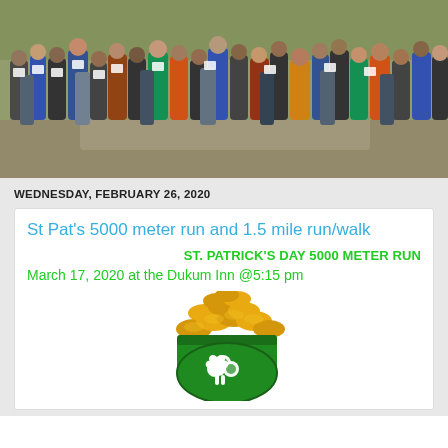[Figure (photo): Crowd of runners at the start of a road race on a dirt/grass path, photographed outdoors in autumn conditions.]
WEDNESDAY, FEBRUARY 26, 2020
St Pat's 5000 meter run and 1.5 mile run/walk
ST. PATRICK'S DAY 5000 METER RUN
March 17, 2020 at the Dukum Inn @5:15 pm
[Figure (illustration): St. Patrick's Day pot of gold illustration: a dark green cauldron/pot filled with gold coins, with a white shamrock on the front.]